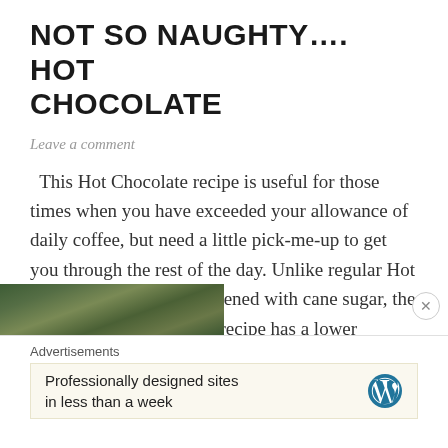NOT SO NAUGHTY…. HOT CHOCOLATE
Leave a comment
This Hot Chocolate recipe is useful for those times when you have exceeded your allowance of daily coffee, but need a little pick-me-up to get you through the rest of the day. Unlike regular Hot Chocolate which is sweetened with cane sugar, the maple syrup used in this recipe has a lower glycemic index, … Continue reading
[Figure (photo): Cropped photo strip showing food/nature imagery in greens, tans, and teals]
Advertisements
Professionally designed sites in less than a week